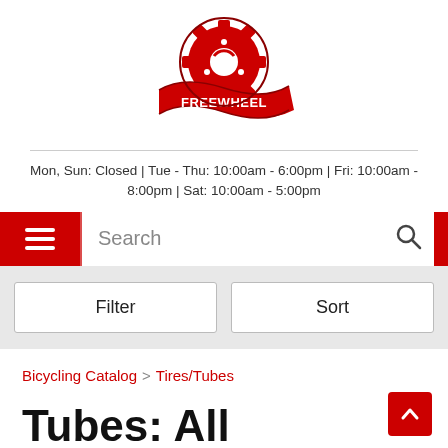[Figure (logo): Freewheel bicycle shop logo — red gear/cog with a wave ribbon banner reading FREEWHEEL]
Mon, Sun: Closed | Tue - Thu: 10:00am - 6:00pm | Fri: 10:00am - 8:00pm | Sat: 10:00am - 5:00pm
Search (navigation bar with hamburger menu and search icon)
Filter   Sort
Bicycling Catalog > Tires/Tubes
Tubes: All